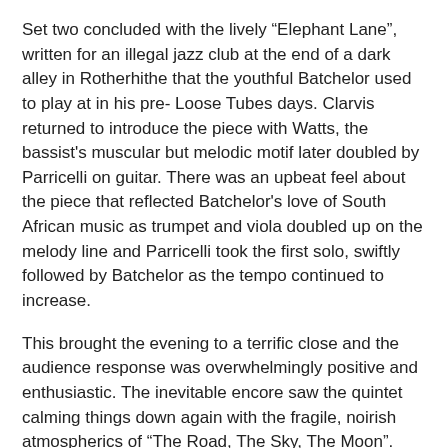Set two concluded with the lively “Elephant Lane”, written for an illegal jazz club at the end of a dark alley in Rotherhithe that the youthful Batchelor used to play at in his pre- Loose Tubes days. Clarvis returned to introduce the piece with Watts, the bassist's muscular but melodic motif later doubled by Parricelli on guitar. There was an upbeat feel about the piece that reflected Batchelor's love of South African music as trumpet and viola doubled up on the melody line and Parricelli took the first solo, swiftly followed by Batchelor as the tempo continued to increase.
This brought the evening to a terrific close and the audience response was overwhelmingly positive and enthusiastic. The inevitable encore saw the quintet calming things down again with the fragile, noirish atmospherics of “The Road, The Sky, The Moon”. The ensemble didn’t get the chance to play this piece at Cardiff, so it was good to hear it at last.
The evening was perhaps best summed up by SJN Chair Mike Wright who rather poetically thanked Zoetic for giving us “two hours in a magical world”, which expressed the feelings of the audience perfectly.